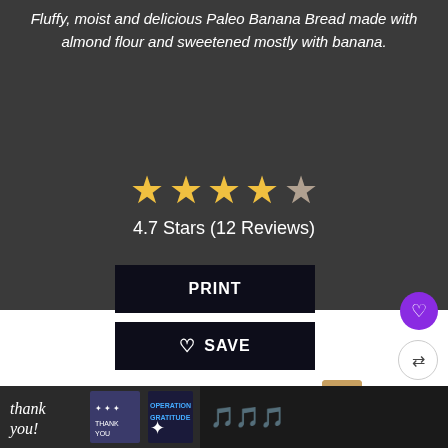Fluffy, moist and delicious Paleo Banana Bread made with almond flour and sweetened mostly with banana.
[Figure (other): Star rating: 4.7 out of 5 stars, shown as 4 full gold stars and 1 partial/grey star]
4.7 Stars (12 Reviews)
PRINT
SAVE
[Figure (other): Purple circular heart/save button on right side]
[Figure (other): White circular share button on right side]
WHAT'S NEXT → The Best Gluten-Free....
[Figure (other): Ad banner: GO BEYOND SAYING THANK YOU with military-themed Operation Gratitude advertisement]
[Figure (other): Bottom advertisement bar with handwritten thank you and Operation Gratitude logo]